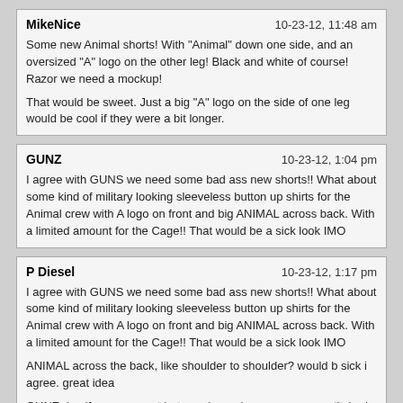MikeNice | 10-23-12, 11:48 am
Some new Animal shorts! With "Animal" down one side, and an oversized "A" logo on the other leg! Black and white of course! Razor we need a mockup!

That would be sweet. Just a big "A" logo on the side of one leg would be cool if they were a bit longer.
GUNZ | 10-23-12, 1:04 pm
I agree with GUNS we need some bad ass new shorts!! What about some kind of military looking sleeveless button up shirts for the Animal crew with A logo on front and big ANIMAL across back. With a limited amount for the Cage!! That would be a sick look IMO
P Diesel | 10-23-12, 1:17 pm
I agree with GUNS we need some bad ass new shorts!! What about some kind of military looking sleeveless button up shirts for the Animal crew with A logo on front and big ANIMAL across back. With a limited amount for the Cage!! That would be a sick look IMO

ANIMAL across the back, like shoulder to shoulder? would b sick i agree. great idea

GUNZ dno if uve seen yet but we always have our names stitched on the front as well.

P
GUNZ | 10-23-12, 1:47 pm
ANIMAL across the back, like shoulder to shoulder? would b sick i agree. great idea